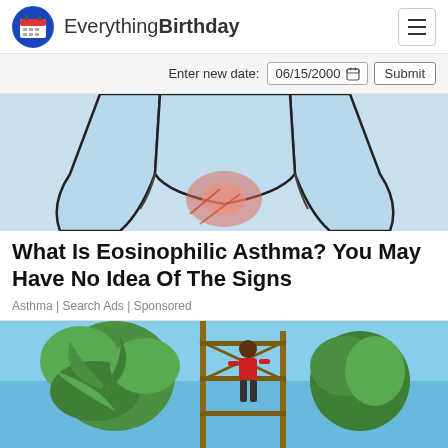EverythingBirthday
Enter new date: 06/15/2000  Submit
[Figure (illustration): Partial illustration of a human torso/chest area with light blue background showing an inflamed area (pink/red) in the chest/lung region, depicting asthma or lung condition]
What Is Eosinophilic Asthma? You May Have No Idea Of The Signs
Asthma | Search Ads | Sponsored
[Figure (photo): Outdoor photo showing a person in a red shirt standing on scaffolding or a ladder structure near palm trees and tropical plants against a clear blue sky]